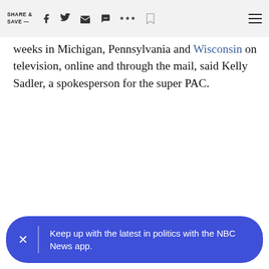SHARE & SAVE —
weeks in Michigan, Pennsylvania and Wisconsin on television, online and through the mail, said Kelly Sadler, a spokesperson for the super PAC.
Keep up with the latest in politics with the NBC News app.